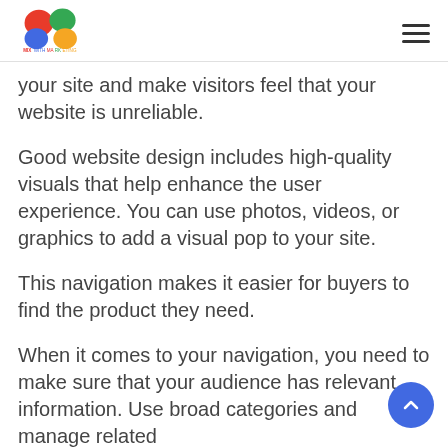MixWithMarketing logo and navigation menu
your site and make visitors feel that your website is unreliable.
Good website design includes high-quality visuals that help enhance the user experience. You can use photos, videos, or graphics to add a visual pop to your site.
This navigation makes it easier for buyers to find the product they need.
When it comes to your navigation, you need to make sure that your audience has relevant information. Use broad categories and manage related